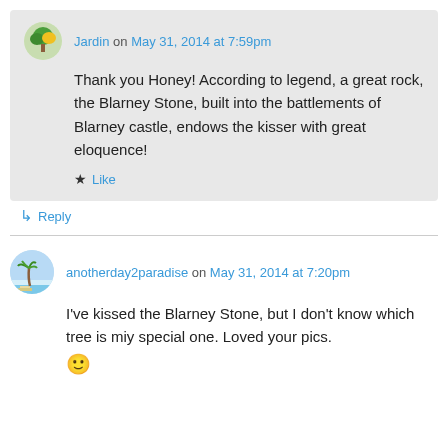Jardin on May 31, 2014 at 7:59pm
Thank you Honey! According to legend, a great rock, the Blarney Stone, built into the battlements of Blarney castle, endows the kisser with great eloquence!
★ Like
↳ Reply
anotherday2paradise on May 31, 2014 at 7:20pm
I've kissed the Blarney Stone, but I don't know which tree is miy special one. Loved your pics. 🙂